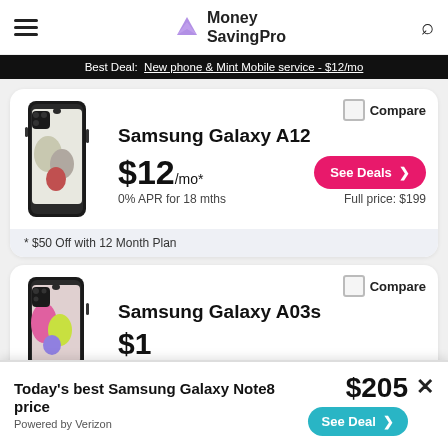Money SavingPro
Best Deal: New phone & Mint Mobile service - $12/mo
[Figure (photo): Samsung Galaxy A12 smartphone front and back view in black]
Samsung Galaxy A12
$12/mo* — 0% APR for 18 mths — See Deals — Full price: $199 — Compare
* $50 Off with 12 Month Plan
[Figure (photo): Samsung Galaxy A03s smartphone front and back view]
Samsung Galaxy A03s
Today's best Samsung Galaxy Note8 price — Powered by Verizon — $205 — See Deal >